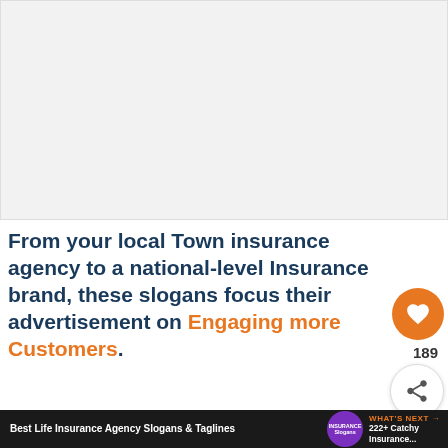[Figure (other): Gray advertisement placeholder box occupying the top portion of the page]
From your local Town insurance agency to a national-level Insurance brand, these slogans focus their advertisement on Engaging more Customers.
[Figure (screenshot): Thumbnail bar at bottom with 'Best Life Insurance Agency Slogans & Taglines' title, purple insurance logo, and 'WHAT'S NEXT 222+ Catchy Insurance...' label in orange]